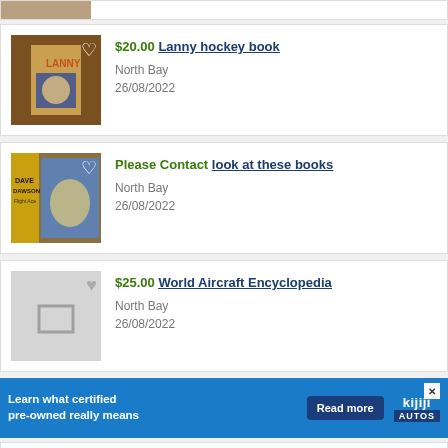[Figure (photo): Partial product image at top, cropped]
$20.00 Lanny hockey book
North Bay
26/08/2022
Please Contact look at these books
North Bay
26/08/2022
$25.00 World Aircraft Encyclopedia
North Bay
26/08/2022
[Figure (screenshot): Kijiji Autos advertisement banner: Learn what certified pre-owned really means. Read more button.]